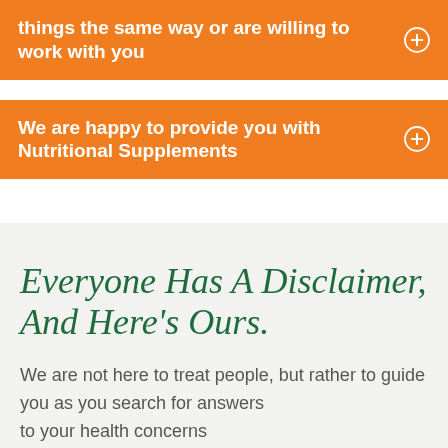things the same way or are willing to work with you
We are happy to provide you with Nutritional Supplements
Everyone Has A Disclaimer, And Here’s Ours.
We are not here to treat people, but rather to guide you as you search for answers to your health concerns